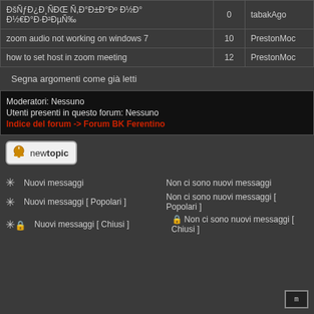| Topic | Replies | Author |
| --- | --- | --- |
| ÐšÑƒÐ¿Ð¸ÑÐŒ Ñ,Ð°Ð±Ð°Ðº Ð½Ð° Д²ÐµÑˆ Ð½€Ð°Ð·Ð²ÐµÑ‰ | 0 | tabakAgo |
| zoom audio not working on windows 7 | 10 | PrestonMoc |
| how to set host in zoom meeting | 12 | PrestonMoc |
Segna argomenti come già letti
Moderatori: Nessuno
Utenti presenti in questo forum: Nessuno
Indice del forum -> Forum BK Ferentino
[Figure (other): New topic button with bell icon]
✳ Nuovi messaggi    Non ci sono nuovi messaggi
✳ Nuovi messaggi [ Popolari ]    Non ci sono nuovi messaggi [ Popolari ]
✳🔒 Nuovi messaggi [ Chiusi ]    🔒 Non ci sono nuovi messaggi [ Chiusi ]
[Figure (logo): Small powered-by logo box with letter m]